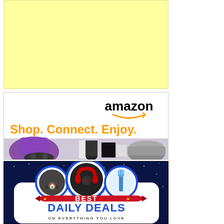[Figure (illustration): Yellow/light yellow rectangular advertisement placeholder block]
[Figure (illustration): Amazon advertisement banner: Amazon logo with smile, tagline 'Shop. Connect. Enjoy.' in orange, product images including purple bag, Amazon Echo, gaming controller, slow cooker]
[Figure (illustration): Best Daily Deals advertisement: dark blue starry background, three circles showing a pet tent, red headphones, and toothbrush, white card with 'BEST' in red ribbon banner with stars, 'DAILY DEALS' in large blue text, 'ON EVERYTHING YOU LOVE' below]